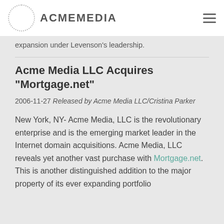ACMEMEDIA
expansion under Levenson's leadership.
Acme Media LLC Acquires "Mortgage.net"
2006-11-27 Released by Acme Media LLC/Cristina Parker
New York, NY- Acme Media, LLC is the revolutionary enterprise and is the emerging market leader in the Internet domain acquisitions. Acme Media, LLC reveals yet another vast purchase with Mortgage.net. This is another distinguished addition to the major property of its ever expanding portfolio